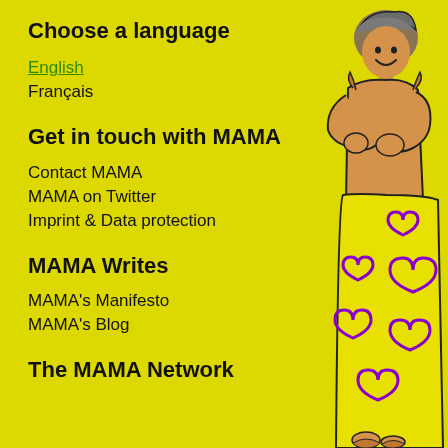Choose a language
English
Français
Get in touch with MAMA
Contact MAMA
MAMA on Twitter
Imprint & Data protection
MAMA Writes
MAMA's Manifesto
MAMA's Blog
The MAMA Network
[Figure (illustration): Illustration of a woman wearing a yellow skirt with purple heart patterns, arms crossed, wearing a head wrap, smiling]